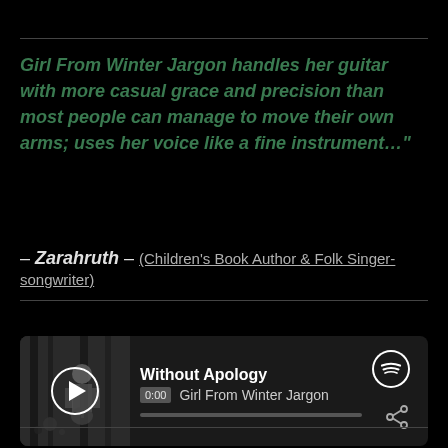Girl From Winter Jargon handles her guitar with more casual grace and precision than most people can manage to move their own arms; uses her voice like a fine instrument…"
– Zarahruth – (Children's Book Author & Folk Singer-songwriter)
[Figure (screenshot): Spotify embedded player showing track 'Without Apology' by Girl From Winter Jargon, with album art on left, play button, time 0:00, progress bar, Spotify logo, and share icon.]